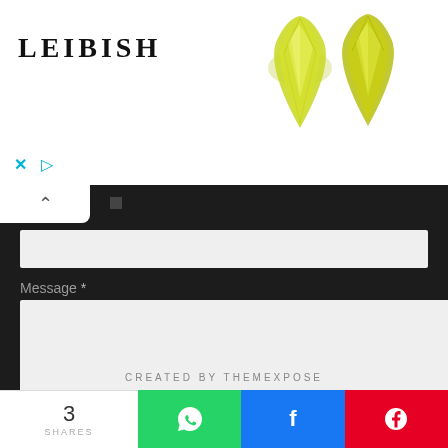[Figure (logo): LEIBISH brand logo text in bold serif letters]
[Figure (photo): Two yellow-green teardrop-shaped gemstones side by side on white background]
[Figure (screenshot): Web form UI with dark background showing a text input field, Message label with asterisk, a textarea, and a yellow SEND button]
CREATED BY THEMEXPOSE
3 SHARES
[Figure (infographic): Share bar with WhatsApp, Facebook, Pinterest buttons]